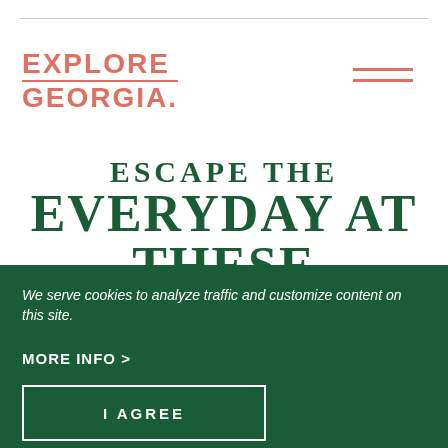[Figure (logo): Explore Georgia logo in salmon/coral color with a horizontal line through the middle]
[Figure (other): Hamburger menu icon with two horizontal salmon/coral lines]
ESCAPE THE EVERYDAY AT THESE GEORGIA RESORTS
We serve cookies to analyze traffic and customize content on this site.
MORE INFO >
I AGREE